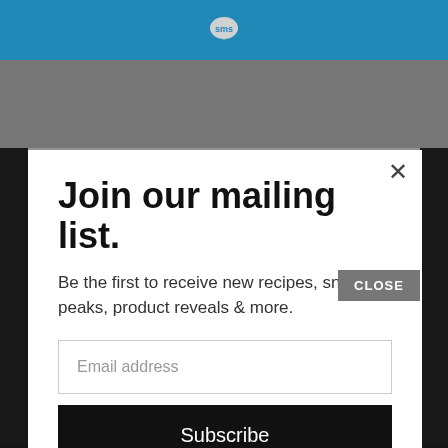[Figure (logo): SMS speech bubble logo in white on blue bar at top of page]
[Figure (screenshot): Background webpage content visible behind modal, showing gray photo strip and partial text]
Join our mailing list.
Be the first to receive new recipes, sneak peaks, product reveals & more.
Email address
Subscribe
CLOSE